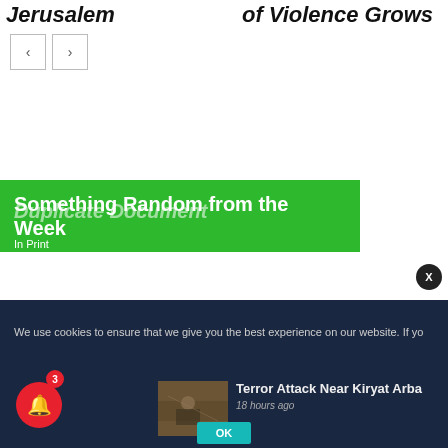Jerusalem
of Violence Grows
[Figure (screenshot): Navigation previous and next buttons]
[Figure (screenshot): Green banner with text 'Something Random from the Week' overlaid with 'Duplicate Document' watermark and 'In Print' label]
We use cookies to ensure that we give you the best experience on our website. If yo
[Figure (photo): Terror attack scene photo - soldier or armed figure]
Terror Attack Near Kiryat Arba
18 hours ago
OK